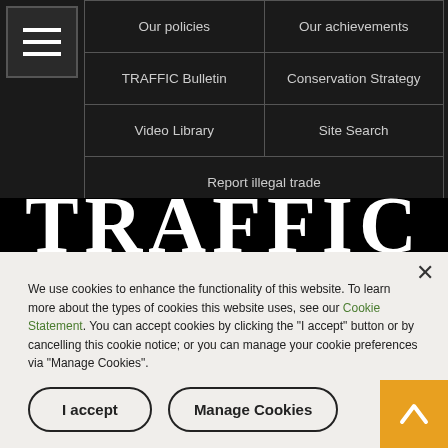[Figure (screenshot): Navigation menu grid with dark background showing: Our policies, Our achievements, TRAFFIC Bulletin, Conservation Strategy, Video Library, Site Search, Report illegal trade]
TRAFFIC
We use cookies to enhance the functionality of this website. To learn more about the types of cookies this website uses, see our Cookie Statement. You can accept cookies by clicking the "I accept" button or by cancelling this cookie notice; or you can manage your cookie preferences via "Manage Cookies".
I accept
Manage Cookies